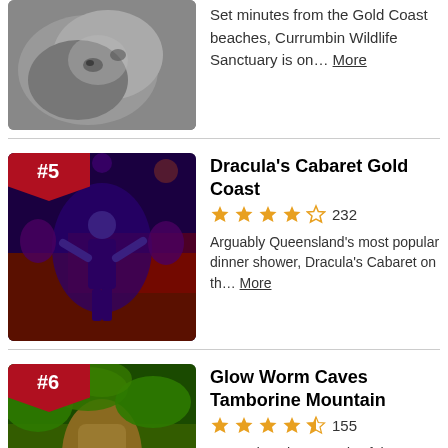Set minutes from the Gold Coast beaches, Currumbin Wildlife Sanctuary is on... More
[Figure (photo): Close-up photo of a koala sleeping]
[Figure (photo): Dracula's Cabaret Gold Coast show with performers in purple lighting, badge #5]
Dracula's Cabaret Gold Coast
★★★★☆ 232
Arguably Queensland's most popular dinner shower, Dracula's Cabaret on th... More
[Figure (photo): Glow Worm Caves Tamborine Mountain jungle scene with roots, badge #6]
Glow Worm Caves Tamborine Mountain
★★★★½ 155
Located on the grounds of the